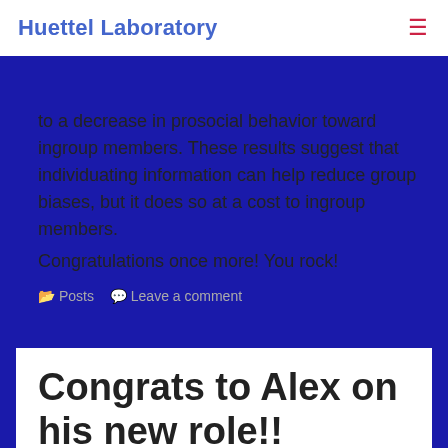Huettel Laboratory
outgroup members – it increases prosocial … ingroup members but le… to a decrease in prosocial behavior toward ingroup members. These results suggest that individuating information can help reduce group biases, but it does so at a cost to ingroup members.
Congratulations once more! You rock!
Posts   Leave a comment
Congrats to Alex on his new role!!
July 19, 2021   Derrick Dwamena